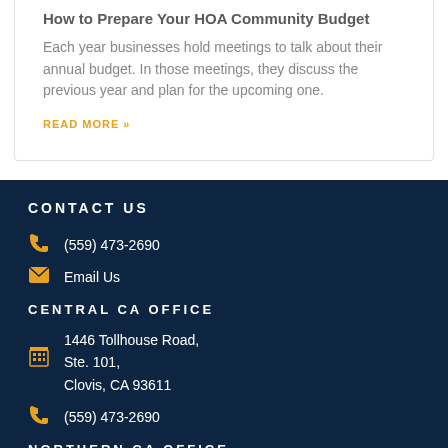How to Prepare Your HOA Community Budget
Each year businesses hold meetings to talk about their annual budget. In those meetings, they discuss the previous year and plan for the upcoming one.
READ MORE »
CONTACT US
(559) 473-2690
Email Us
CENTRAL CA OFFICE
1446 Tollhouse Road, Ste. 101, Clovis, CA 93611
(559) 473-2690
NORTHERN CA OFFICE